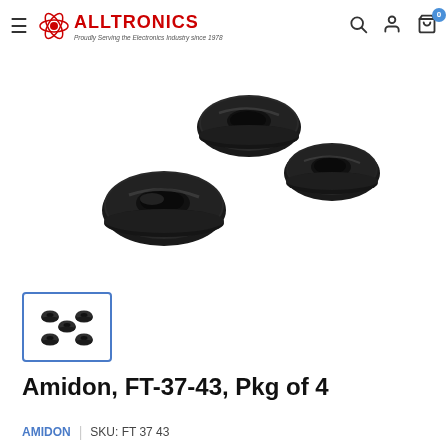ALLTRONICS — Proudly Serving the Electronics Industry since 1978
[Figure (photo): Three black ferrite toroid cores (donut-shaped rings) arranged on a white background, showing their characteristic donut shape with holes in the center.]
[Figure (photo): Thumbnail image showing five small black toroid ferrite cores arranged in a pattern, displayed in a blue-bordered thumbnail selector box.]
Amidon, FT-37-43, Pkg of 4
AMIDON  |  SKU: FT 37 43